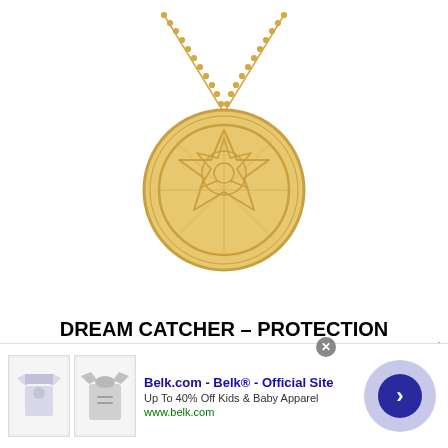[Figure (photo): Gold dream catcher necklace with ball chain on white background. The pendant is a circular filigree/mandala design in gold tone metal.]
DREAM CATCHER – PROTECTION
From Native America, this spider's web catches any bad or negative dreams and the good dreams find their way...
[Figure (other): Advertisement banner for Belk.com - Belk® - Official Site. Up To 40% Off Kids & Baby Apparel. www.belk.com. Shows two child clothing thumbnails and a circular navigation arrow.]